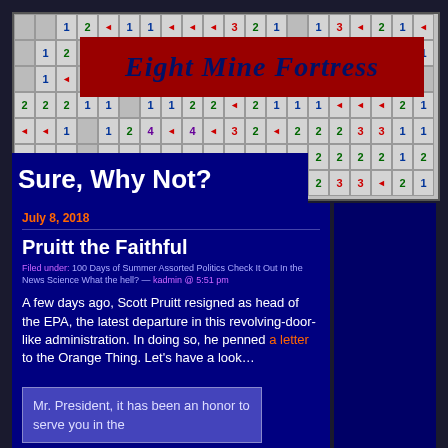[Figure (screenshot): Minesweeper game grid with numbers and flags forming the blog header background]
Eight Mine Fortress
Sure, Why Not?
July 8, 2018
Pruitt the Faithful
Filed under: 100 Days of Summer Assorted Politics Check It Out In the News Science What the hell? — kadmin @ 5:51 pm
A few days ago, Scott Pruitt resigned as head of the EPA, the latest departure in this revolving-door-like administration. In doing so, he penned a letter to the Orange Thing. Let's have a look…
Mr. President, it has been an honor to serve you in the